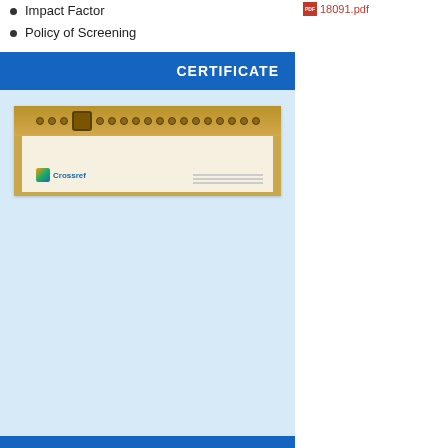Impact Factor
Policy of Screening
CERTIFICATE
[Figure (illustration): Crossref membership certificate with ornate gold border decoration at top]
IMPACT FACTOR 2021
[Figure (illustration): SJIF Certificate of Indexing 2021 with ornate border and circular logo]
18091.pdf